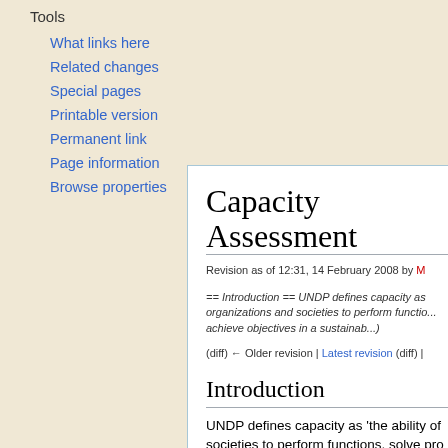Tools
What links here
Related changes
Special pages
Printable version
Permanent link
Page information
Browse properties
Capacity Assessment
Revision as of 12:31, 14 February 2008 by M
== Introduction == UNDP defines capacity as organizations and societies to perform functions, achieve objectives in a sustainab...)
(diff) ← Older revision | Latest revision (diff) |
Introduction
UNDP defines capacity as 'the ability of societies to perform functions, solve pro objectives in a sustainable manner'. Ca thereby the process through which the a strengthened, adapted and maintained...